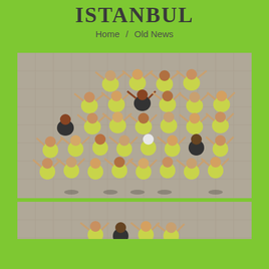ISTANBUL
Home / Old News
[Figure (photo): Aerial view from above of a large group of people (approximately 40-50) wearing yellow-green matching t-shirts, waving their hands up at the camera, standing on a stone/tile plaza in daylight.]
[Figure (photo): Partial view of another aerial group photo showing people in yellow-green t-shirts on a stone plaza, cropped at bottom of page.]